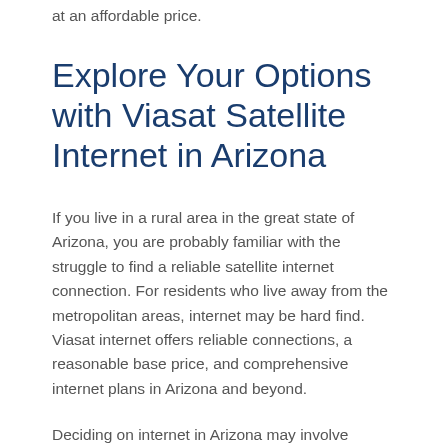at an affordable price.
Explore Your Options with Viasat Satellite Internet in Arizona
If you live in a rural area in the great state of Arizona, you are probably familiar with the struggle to find a reliable satellite internet connection. For residents who live away from the metropolitan areas, internet may be hard find. Viasat internet offers reliable connections, a reasonable base price, and comprehensive internet plans in Arizona and beyond.
Deciding on internet in Arizona may involve analyzing significant and unique needs. Reliable high-speed